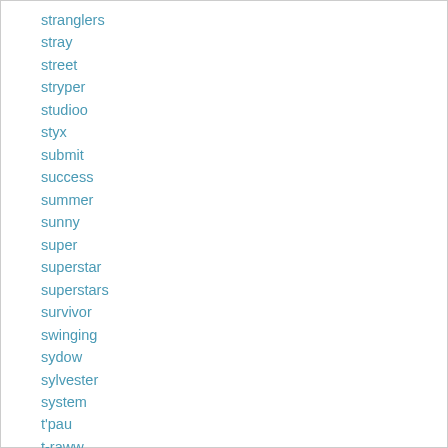stranglers
stray
street
stryper
studioo
styx
submit
success
summer
sunny
super
superstar
superstars
survivor
swinging
sydow
sylvester
system
t'pau
t-raww
taka
talia
tampa
taron